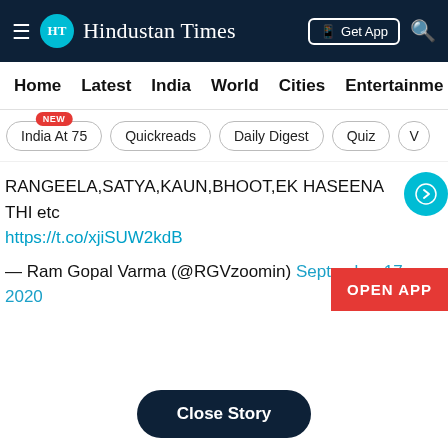Hindustan Times
Home  Latest  India  World  Cities  Entertainment
India At 75 NEW
Quickreads
Daily Digest
Quiz
RANGEELA,SATYA,KAUN,BHOOT,EK HASEENA THI etc
https://t.co/xjiSUW2kdB
— Ram Gopal Varma (@RGVzoomin) September 17, 2020